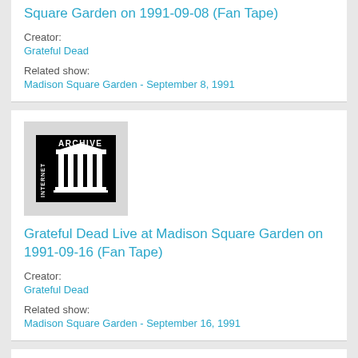Square Garden on 1991-09-08 (Fan Tape)
Creator:
Grateful Dead
Related show:
Madison Square Garden - September 8, 1991
[Figure (logo): Internet Archive logo — black background with white Greek temple columns and 'INTERNET ARCHIVE' text]
Grateful Dead Live at Madison Square Garden on 1991-09-16 (Fan Tape)
Creator:
Grateful Dead
Related show:
Madison Square Garden - September 16, 1991